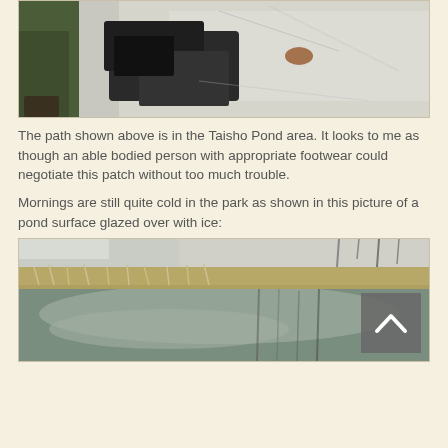[Figure (photo): Outdoor path in the Taisho Pond area showing broken dark asphalt/material surrounded by snow or ice, with a person in green pants and boots visible on the left side, and wooden railing.]
The path shown above is in the Taisho Pond area. It looks to me as though an able bodied person with appropriate footwear could negotiate this patch without too much trouble.
Mornings are still quite cold in the park as shown in this picture of a pond surface glazed over with ice:
[Figure (photo): Pond surface glazed over with ice in the park, showing frozen water with dead grass/reeds around the edges and bare tree reflections visible. A gray back-to-top button with a chevron is overlaid in the bottom-right corner.]